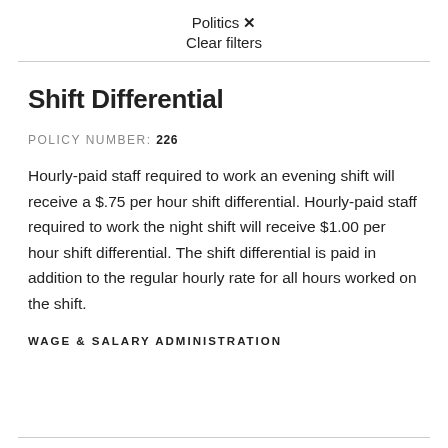Politics ✕
Clear filters
Shift Differential
POLICY NUMBER: 226
Hourly-paid staff required to work an evening shift will receive a $.75 per hour shift differential. Hourly-paid staff required to work the night shift will receive $1.00 per hour shift differential. The shift differential is paid in addition to the regular hourly rate for all hours worked on the shift.
WAGE & SALARY ADMINISTRATION